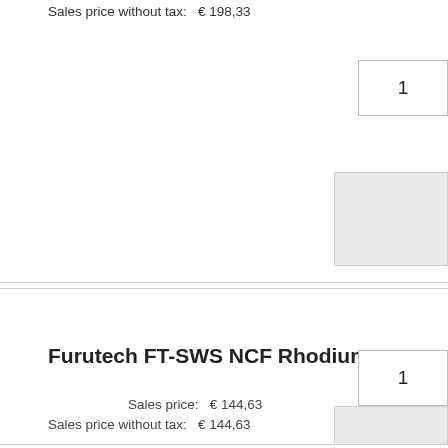Sales price without tax:   € 198,33
1
Furutech FT-SWS NCF Rhodium
Sales price:   € 144,63
Sales price without tax:   € 144,63
1